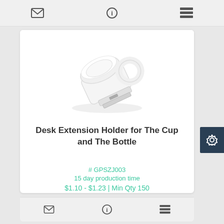Navigation toolbar with mail, info, and list icons
[Figure (photo): White plastic desk extension holder product — a clip-style holder with a circular ring, designed to hold a cup or bottle at the edge of a desk. The product is white and shown at an angle.]
Desk Extension Holder for The Cup and The Bottle
# GPSZJ003
15 day production time
$1.10 - $1.23 | Min Qty 150
Bottom toolbar with mail, info, and list icons